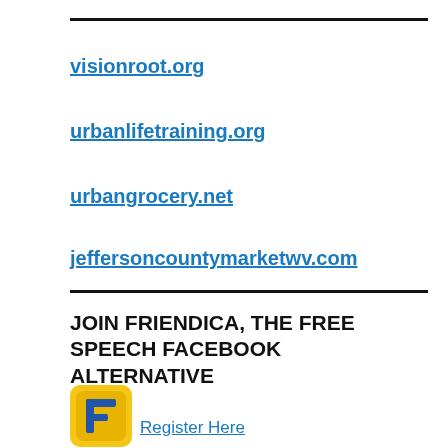visionroot.org
urbanlifetraining.org
urbangrocery.net
jeffersoncountymarketwv.com
JOIN FRIENDICA, THE FREE SPEECH FACEBOOK ALTERNATIVE
[Figure (logo): Friendica app logo — yellow/gold square with blue F letter icon]
Register Here